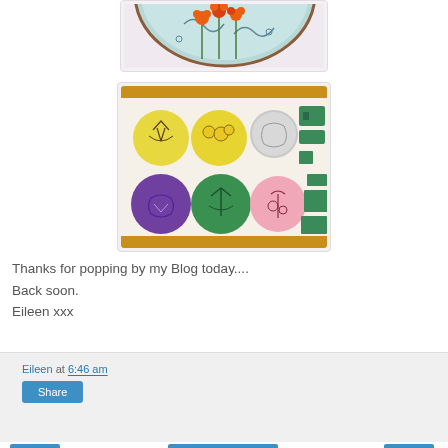[Figure (photo): Partial view of an oval decorative plate with painted flowers (orange/red blooms with stems) on a light blue/teal background, cropped at top]
[Figure (photo): Photo of multiple hand-decorated circular discs and rectangular pieces arranged on a wooden tray. Circles are yellow, purple, green, gray/white, and pink with flower/plant drawings. Green rectangular pieces on the right side.]
Thanks for popping by my Blog today....
Back soon.
Eileen xxx
Eileen at 6:46 am
Share